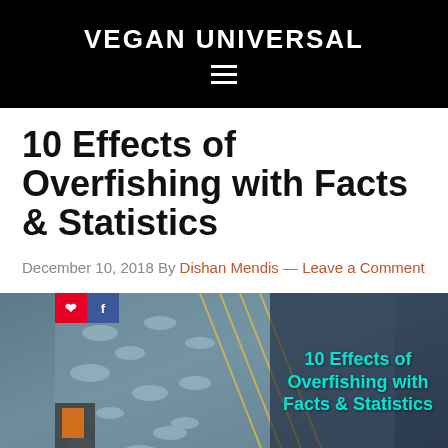VEGAN UNIVERSAL
10 Effects of Overfishing with Facts & Statistics
December 10, 2018 By Dishan Mendis — Leave a Comment
[Figure (photo): Aerial or close-up view of a fishing net pulling in a large catch of fish at sea, with a person visible in orange gear. Overlay text reads '10 Effects of Overfishing with Facts & Statistics' in teal. Social share buttons (Pinterest red, Facebook blue) in top-left corner.]